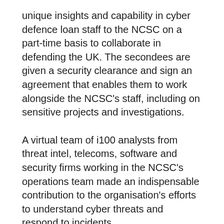unique insights and capability in cyber defence loan staff to the NCSC on a part-time basis to collaborate in defending the UK. The secondees are given a security clearance and sign an agreement that enables them to work alongside the NCSC's staff, including on sensitive projects and investigations.
A virtual team of i100 analysts from threat intel, telecoms, software and security firms working in the NCSC's operations team made an indispensable contribution to the organisation's efforts to understand cyber threats and respond to incidents.
During the coronavirus pandemic, they were at the forefront of identifying malicious infrastructure targeting the public, industry and government, as well as flagging incidents to the NCSC and drawing